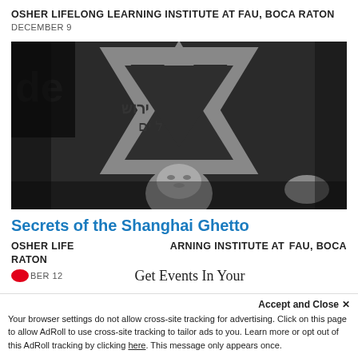OSHER LIFELONG LEARNING INSTITUTE AT FAU, BOCA RATON
DECEMBER 9
[Figure (photo): Black and white photograph of a man in front of a large Star of David with Hebrew text, appearing to be a historical image related to the Shanghai Ghetto.]
Secrets of the Shanghai Ghetto
OSHER LIFELONG LEARNING INSTITUTE AT FAU, BOCA RATON
DECEMBER 12
Get Events In Your
Accept and Close ✕
Your browser settings do not allow cross-site tracking for advertising. Click on this page to allow AdRoll to use cross-site tracking to tailor ads to you. Learn more or opt out of this AdRoll tracking by clicking here. This message only appears once.